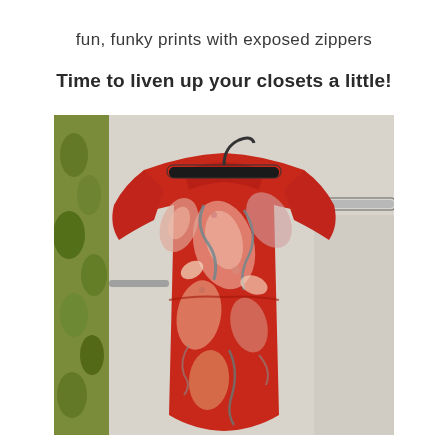fun, funky prints with exposed zippers
Time to liven up your closets a little!
[Figure (photo): A red paisley print dress with short sleeves hanging on a clothes hanger on a clothing rack. The dress features colorful swirling floral and paisley patterns in pink, cream, grey and teal on a bright red background.]